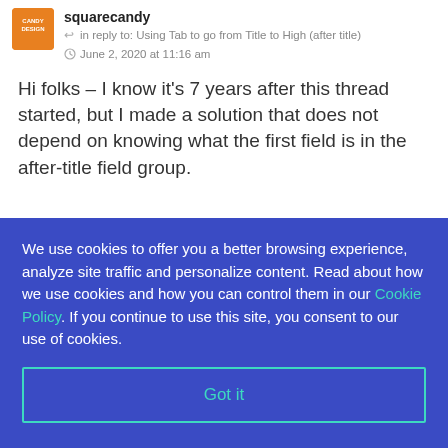squarecandy
in reply to: Using Tab to go from Title to High (after title)
June 2, 2020 at 11:16 am
Hi folks – I know it's 7 years after this thread started, but I made a solution that does not depend on knowing what the first field is in the after-title field group.
We use cookies to offer you a better browsing experience, analyze site traffic and personalize content. Read about how we use cookies and how you can control them in our Cookie Policy. If you continue to use this site, you consent to our use of cookies.
Got it